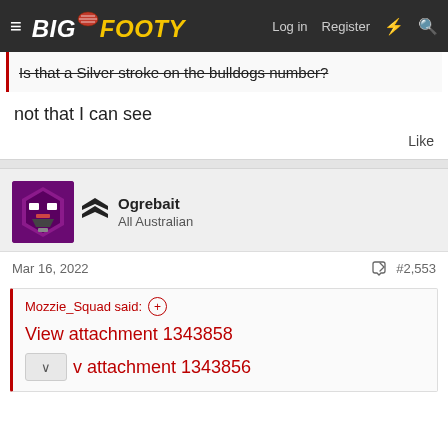BigFooty — Log in  Register
Is that a Silver stroke on the bulldogs number?
not that I can see
Like
Ogrebait
All Australian
Mar 16, 2022    #2,553
Mozzie_Squad said:  View attachment 1343858  View attachment 1343856